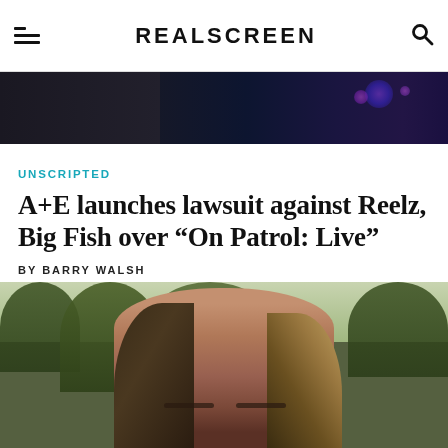REALSCREEN
[Figure (photo): Dark banner image at top of article, showing partial figure with blue/purple stage lighting in background]
UNSCRIPTED
A+E launches lawsuit against Reelz, Big Fish over “On Patrol: Live”
BY BARRY WALSH
August 31, 2022
[Figure (photo): Photo of a woman with long brown and blonde hair, outdoors with trees in background]